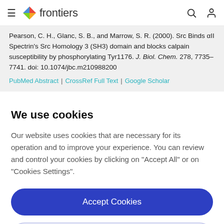frontiers
Pearson, C. H., Glanc, S. B., and Marrow, S. R. (2000). Src Binds αII Spectrin's Src Homology 3 (SH3) domain and blocks calpain susceptibility by phosphorylating Tyr1176. J. Biol. Chem. 278, 7735–7741. doi: 10.1074/jbc.m210988200
PubMed Abstract | CrossRef Full Text | Google Scholar
We use cookies
Our website uses cookies that are necessary for its operation and to improve your experience. You can review and control your cookies by clicking on "Accept All" or on "Cookies Settings".
Accept Cookies
Cookies Settings